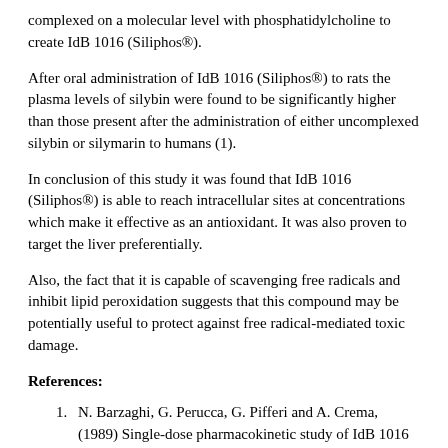complexed on a molecular level with phosphatidylcholine to create IdB 1016 (Siliphos®).
After oral administration of IdB 1016 (Siliphos®) to rats the plasma levels of silybin were found to be significantly higher than those present after the administration of either uncomplexed silybin or silymarin to humans (1).
In conclusion of this study it was found that IdB 1016 (Siliphos®) is able to reach intracellular sites at concentrations which make it effective as an antioxidant. It was also proven to target the liver preferentially.
Also, the fact that it is capable of scavenging free radicals and inhibit lipid peroxidation suggests that this compound may be potentially useful to protect against free radical-mediated toxic damage.
References:
1. N. Barzaghi, G. Perucca, G. Pifferi and A. Crema, (1989) Single-dose pharmacokinetic study of IdB 1016 (Siliphos®), a new flavanolignan complex in man. European Journal of Clinical Pharmacology, 36 (suppl.), A110